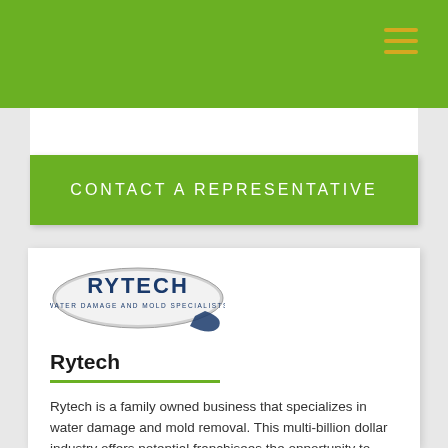[Figure (logo): Green navigation header bar with hamburger menu icon (three gold lines) in top right]
[Figure (logo): Rytech Water Damage and Mold Specialists oval logo with blue text on grey/white oval with swoosh]
Rytech
Rytech is a family owned business that specializes in water damage and mold removal. This multi-billion dollar industry offers potential franchisees the opportunity to build a successful business. Rytech franchisees are hands-